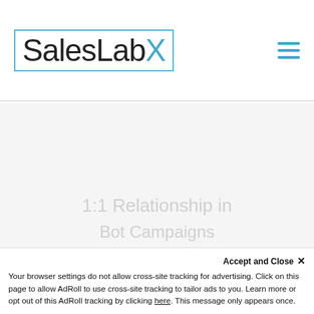SalesLabX
1:1 Relationship in ... Bot Campaigns
Accept and Close ✕ Your browser settings do not allow cross-site tracking for advertising. Click on this page to allow AdRoll to use cross-site tracking to tailor ads to you. Learn more or opt out of this AdRoll tracking by clicking here. This message only appears once.